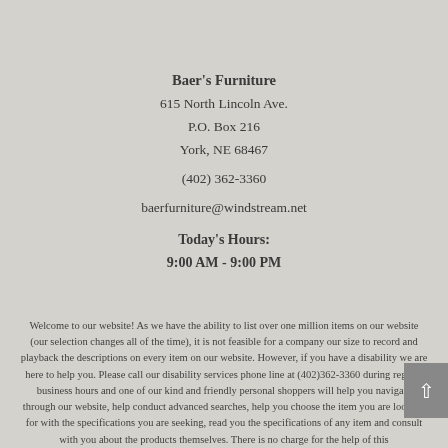Baer's Furniture
615 North Lincoln Ave.
P.O. Box 216
York, NE 68467
(402) 362-3360
baerfurniture@windstream.net
Today's Hours:
9:00 AM - 9:00 PM
Welcome to our website! As we have the ability to list over one million items on our website (our selection changes all of the time), it is not feasible for a company our size to record and playback the descriptions on every item on our website. However, if you have a disability we are here to help you. Please call our disability services phone line at (402)362-3360 during regular business hours and one of our kind and friendly personal shoppers will help you navigate through our website, help conduct advanced searches, help you choose the item you are looking for with the specifications you are seeking, read you the specifications of any item and consult with you about the products themselves. There is no charge for the help of this